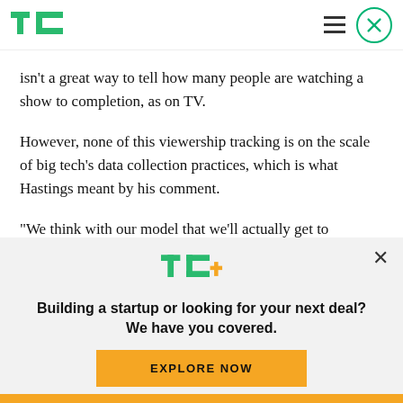TechCrunch
isn't a great way to tell how many people are watching a show to completion, as on TV.
However, none of this viewership tracking is on the scale of big tech's data collection practices, which is what Hastings meant by his comment.
“We think with our model that we’ll actually get to
[Figure (logo): TechCrunch TC+ logo in green and yellow]
Building a startup or looking for your next deal? We have you covered.
EXPLORE NOW